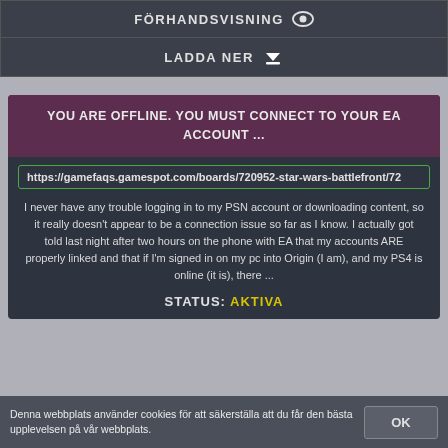FÖRHANDSVISNING
LADDA NER
YOU ARE OFFLINE. YOU MUST CONNECT TO YOUR EA ACCOUNT ...
https://gamefaqs.gamespot.com/boards/720952-star-wars-battlefront/72
I never have any trouble logging in to my PSN account or downloading content, so it really doesn't appear to be a connection issue so far as I know. I actually got told last night after two hours on the phone with EA that my accounts ARE properly linked and that if I'm signed in on my pc into Origin (I am), and my PS4 is online (it is), there ...
STATUS: AKTIVA
Denna webbplats använder cookies för att säkerställa att du får den bästa upplevelsen på vår webbplats.